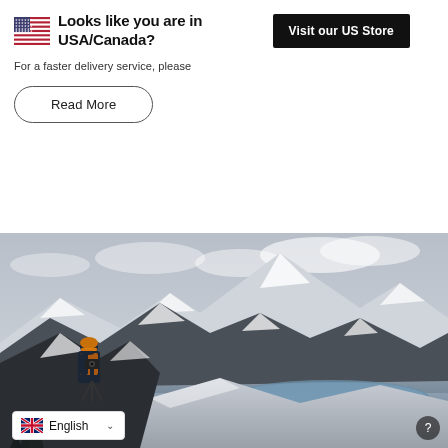Looks like you are in USA/Canada?
For a faster delivery service, please
Read More
[Figure (photo): Photographer standing on a snowy mountain peak with camera on tripod, looking over a dramatic winter landscape with snow-covered mountains and a lake in the valley below, under a cloudy sky]
English